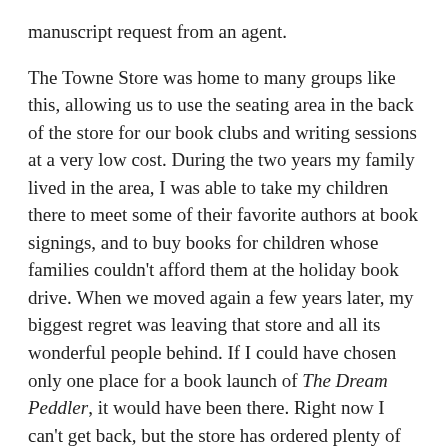manuscript request from an agent.
The Towne Store was home to many groups like this, allowing us to use the seating area in the back of the store for our book clubs and writing sessions at a very low cost. During the two years my family lived in the area, I was able to take my children there to meet some of their favorite authors at book signings, and to buy books for children whose families couldn't afford them at the holiday book drive. When we moved again a few years later, my biggest regret was leaving that store and all its wonderful people behind. If I could have chosen only one place for a book launch of The Dream Peddler, it would have been there. Right now I can't get back, but the store has ordered plenty of copies of my book so that my former writing group friends can all buy it there. I'm so grateful.